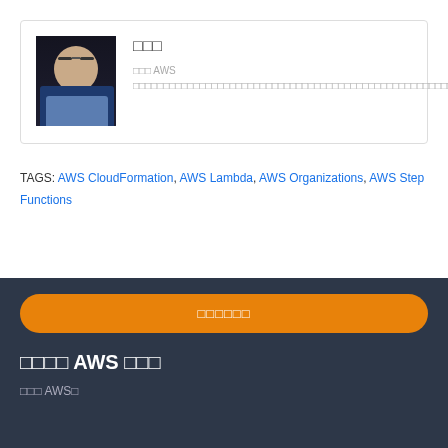[Figure (photo): Author profile photo showing a man wearing glasses in a dark jacket]
□□□
□□□ AWS □□□□□□□□□□□□□□□□□□□□□□□□□□□□□□□□□□□□□□□□□□□□□□□□□□□□□□□□□□□□□□□□□□□□□DevSecOps□□□□□□□□□□□□□□□
TAGS: AWS CloudFormation, AWS Lambda, AWS Organizations, AWS Step Functions
□□□□□□
□□□□ AWS □□□
□□□ AWS□